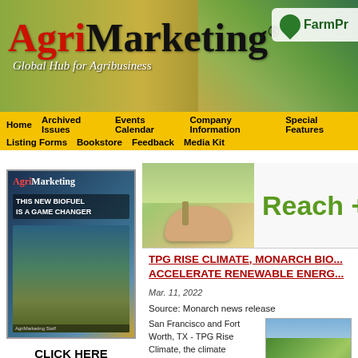[Figure (logo): AgriMarketing magazine header banner with logo, tagline 'Global Hub for Agribusiness', and FarmPro logo on right, agricultural background image]
Home | Archived Issues | Events Calendar | Company Information | Special Features | Listing Forms | Bookstore | Feedback | Media Kit
[Figure (photo): AgriMarketing magazine cover - 'This New Biofuel Is A Game Changer']
CLICK HERE TO VIEW CURRENT ISSUE
[Figure (logo): AgriMarketing subscription renewal advertisement]
[Figure (photo): Hand holding grain/wheat plant in field]
Reach + Re
TPG RISE CLIMATE, MONARCH BIO... ACCELERATE RENEWABLE ENERG...
Mar. 11, 2022
Source: Monarch news release
San Francisco and Fort Worth, TX - TPG Rise Climate, the climate investing strategy of TPG's global impact investing platform TPG Rise, today announced an investment in Monarch Bioenergy ("Monarch").
[Figure (photo): Aerial view of farmland with fields and waterway]